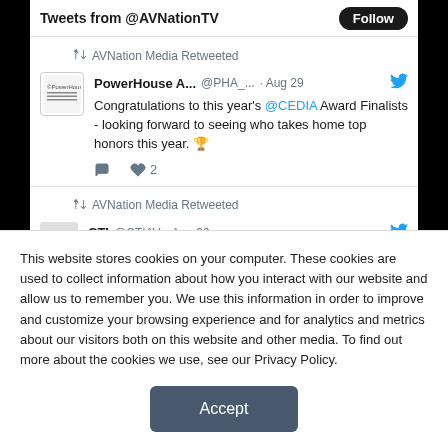Tweets from @AVNationTV  Follow
AVNation Media Retweeted
PowerHouse A... @PHA_... · Aug 29 — Congratulations to this year's @CEDIA Award Finalists - looking forward to seeing who takes home top honors this year. 🏆
AVNation Media Retweeted
CTI @CTIAV · Aug 29
This website stores cookies on your computer. These cookies are used to collect information about how you interact with our website and allow us to remember you. We use this information in order to improve and customize your browsing experience and for analytics and metrics about our visitors both on this website and other media. To find out more about the cookies we use, see our Privacy Policy.